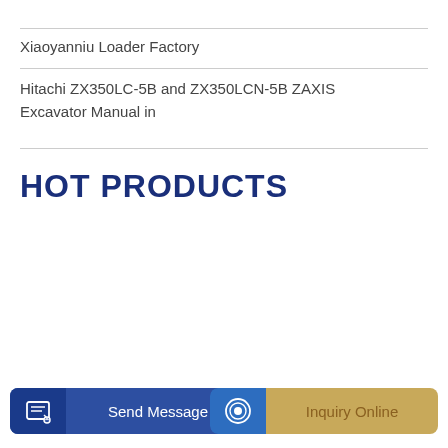Xiaoyanniu Loader Factory
Hitachi ZX350LC-5B and ZX350LCN-5B ZAXIS Excavator Manual in
HOT PRODUCTS
Send Message
Inquiry Online